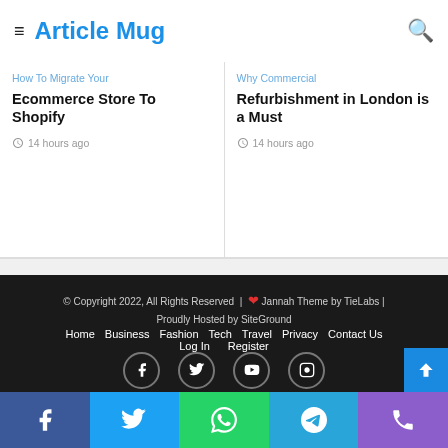Article Mug
How To Migrate Your Ecommerce Store To Shopify
14 hours ago
Why Commercial Refurbishment in London is a Must
14 hours ago
© Copyright 2022, All Rights Reserved | ❤ Jannah Theme by TieLabs | Proudly Hosted by SiteGround
Home
Business
Fashion
Tech
Travel
Privacy
Contact Us
Log In
Register